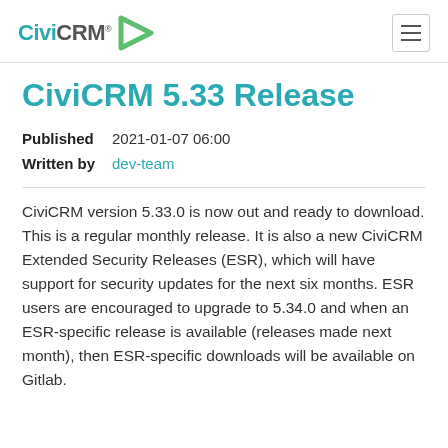CiviCRM® [logo] [hamburger menu]
CiviCRM 5.33 Release
Published   2021-01-07 06:00
Written by   dev-team
CiviCRM version 5.33.0 is now out and ready to download. This is a regular monthly release. It is also a new CiviCRM Extended Security Releases (ESR), which will have support for security updates for the next six months. ESR users are encouraged to upgrade to 5.34.0 and when an ESR-specific release is available (releases made next month), then ESR-specific downloads will be available on Gitlab.